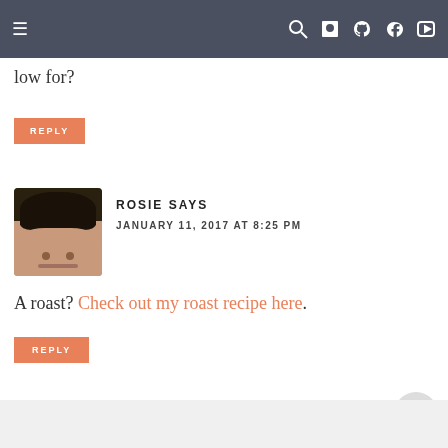Navigation bar with menu and social icons
low for?
REPLY
ROSIE SAYS
JANUARY 11, 2017 AT 8:25 PM
A roast? Check out my roast recipe here.
REPLY